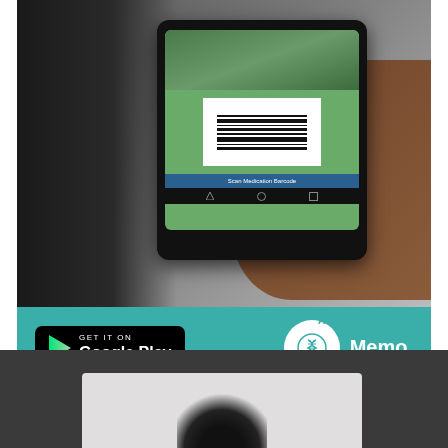[Figure (photo): Hand holding a smartphone scanning a barcode, with a Google Play download button and Memo. app icon in a teal banner at bottom]
Manage your health with this free app
ADS BY LIVEMAG
[Figure (photo): Dark background section with a photo of a person with curly hair partially visible at bottom]